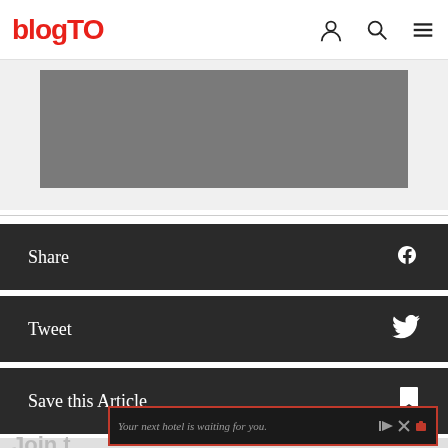blogTO
[Figure (other): Gray placeholder image/advertisement area]
Share
Tweet
Save this Article
Your next hotel is waiting for you.
Join t